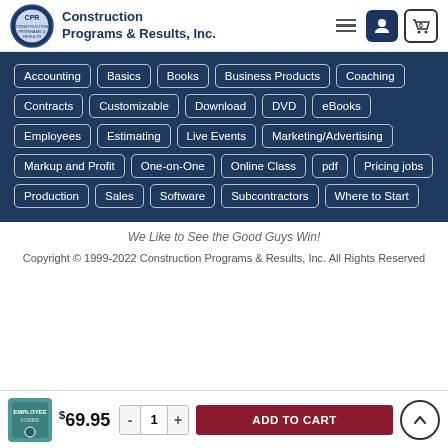Construction Programs & Results, Inc.
[Figure (infographic): Tag cloud navigation menu with dark navy background. Tags include: Accounting, Basics, Books, Business Products, Coaching, Contracts, Customizable, Download, DVD, eBooks, Employees, Estimating, Live Events, Marketing/Advertising, Markup and Profit, One-on-One, Online Class, pdf, Pricing jobs, Production, Sales, Software, Subcontractors, Where to Start]
We Like to See the Good Guys Win!
Copyright © 1999-2022 Construction Programs & Results, Inc. All Rights Reserved
$69.95  -  1  +  ADD TO CART